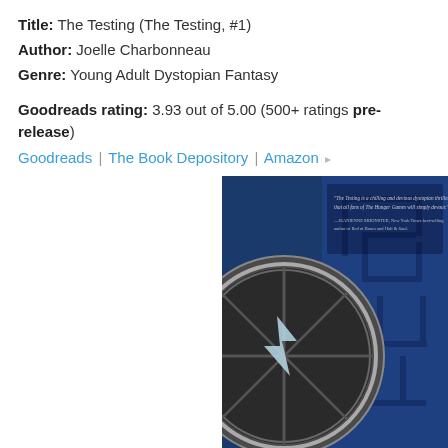Title: The Testing (The Testing, #1)
Author: Joelle Charbonneau
Genre: Young Adult Dystopian Fantasy
Goodreads rating: 3.93 out of 5.00 (500+ ratings pre-release)
Goodreads | The Book Depository | Amazon
[Figure (photo): Book cover of The Testing by Joelle Charbonneau showing a dark blue background with maze-like patterns and a circular metallic lens or wheel graphic on the left. A quote appears at the top in small italic text.]